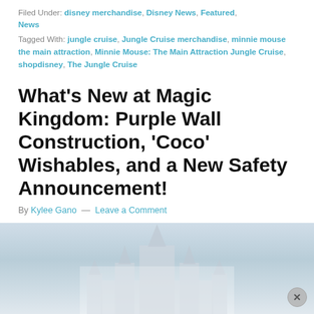Filed Under: disney merchandise, Disney News, Featured, News
Tagged With: jungle cruise, Jungle Cruise merchandise, minnie mouse the main attraction, Minnie Mouse: The Main Attraction Jungle Cruise, shopdisney, The Jungle Cruise
What's New at Magic Kingdom: Purple Wall Construction, 'Coco' Wishables, and a New Safety Announcement!
By Kylee Gano — Leave a Comment
We just wrapped up another day at the Magic Kingdom in Walt Disney World!
[Figure (photo): A misty photo of Cinderella Castle at Magic Kingdom, Walt Disney World, with a cloudy sky background.]